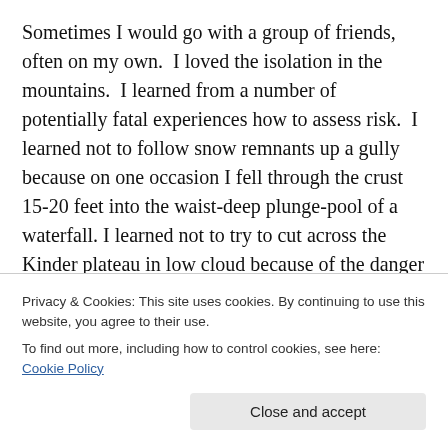Sometimes I would go with a group of friends, often on my own.  I loved the isolation in the mountains.  I learned from a number of potentially fatal experiences how to assess risk.  I learned not to follow snow remnants up a gully because on one occasion I fell through the crust 15-20 feet into the waist-deep plunge-pool of a waterfall. I learned not to try to cut across the Kinder plateau in low cloud because of the danger of falling prey to the disorienting peat hags (deeply eroded peat bog, nothing to do with Macbethian hags).  I learned the dangers of crawling into small limestone caves with nothing but a
Privacy & Cookies: This site uses cookies. By continuing to use this website, you agree to their use.
To find out more, including how to control cookies, see here: Cookie Policy
Close and accept